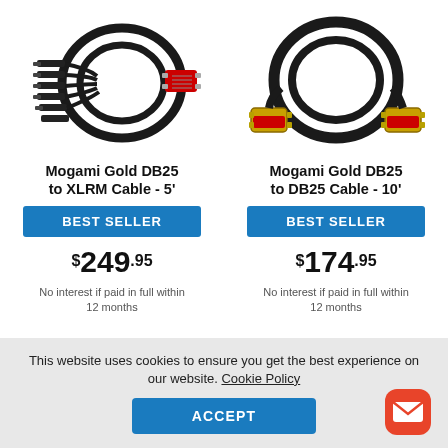[Figure (photo): Mogami Gold DB25 to XLRM Cable coiled with multiple XLR connectors on one end and a red DB25 connector on the other]
Mogami Gold DB25 to XLRM Cable - 5'
BEST SELLER
$249.95
No interest if paid in full within 12 months
[Figure (photo): Mogami Gold DB25 to DB25 Cable coiled with gold DB25 connectors with red inserts on both ends]
Mogami Gold DB25 to DB25 Cable - 10'
BEST SELLER
$174.95
No interest if paid in full within 12 months
This website uses cookies to ensure you get the best experience on our website. Cookie Policy
ACCEPT